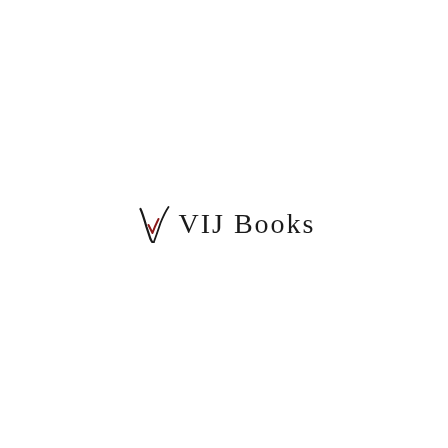[Figure (logo): VIJ Books logo with a stylized checkmark/tick symbol in dark red and black to the left of the text 'VIJ Books' in serif font]